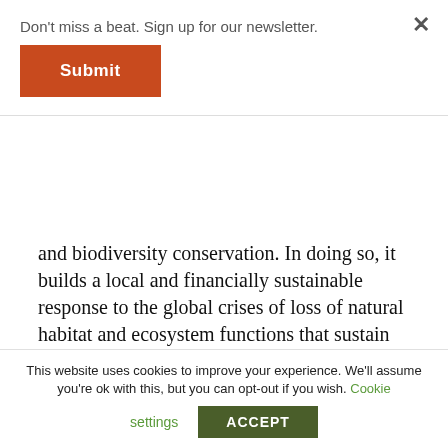Don't miss a beat. Sign up for our newsletter.
Submit
and biodiversity conservation. In doing so, it builds a local and financially sustainable response to the global crises of loss of natural habitat and ecosystem functions that sustain life on earth. It builds these municipalities´ economies and welfare, making them more in command of their water supply and less vulnerable to new threats such as global climate change.
[Figure (other): FOLLOW US ON twitter button (teal/blue gradient)]
This website uses cookies to improve your experience. We'll assume you're ok with this, but you can opt-out if you wish. Cookie settings ACCEPT